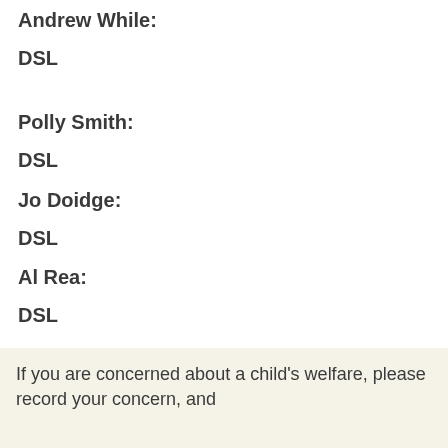Andrew While:
DSL
Polly Smith:
DSL
Jo Doidge:
DSL
Al Rea:
DSL
If you are concerned about a child's welfare, please record your concern, and